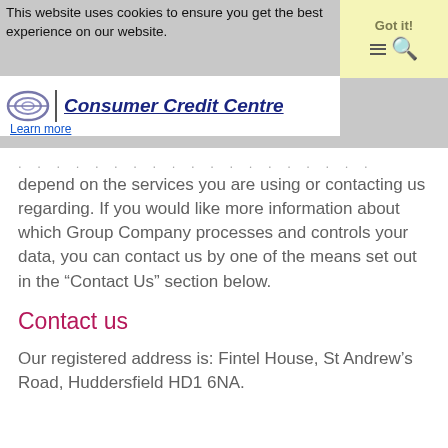This website uses cookies to ensure you get the best experience on our website. Got it! Consumer Credit Centre Learn more
depend on the services you are using or contacting us regarding. If you would like more information about which Group Company processes and controls your data, you can contact us by one of the means set out in the “Contact Us” section below.
Contact us
Our registered address is: Fintel House, St Andrew’s Road, Huddersfield HD1 6NA.